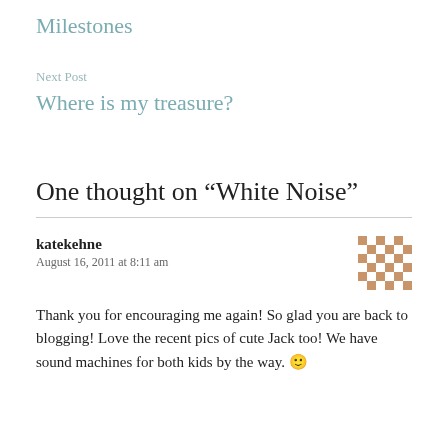Milestones
Next Post
Where is my treasure?
One thought on “White Noise”
katekehne
August 16, 2011 at 8:11 am
Thank you for encouraging me again! So glad you are back to blogging! Love the recent pics of cute Jack too! We have sound machines for both kids by the way. 🙂